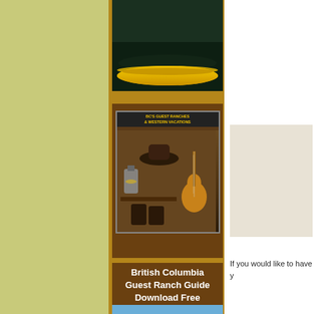[Figure (photo): Yellow canoe on dark green water, top portion visible]
[Figure (photo): BC Guest Ranches and Western Vacations guide cover showing hats, boots, guitar and western gear]
British Columbia Guest Ranch Guide Download Free
[Figure (photo): The Bowron Lakes Canoe Circuit book cover showing mountain lake with canoe]
[Figure (other): Beige/cream colored advertisement box placeholder]
If you would like to have y